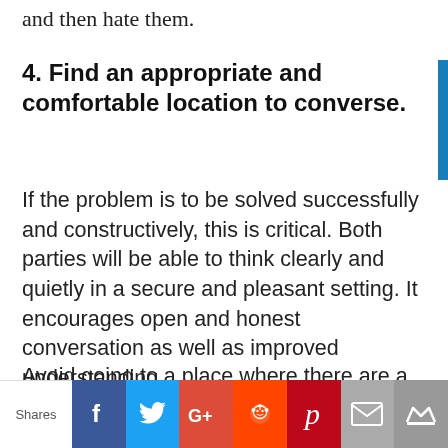and then hate them.
4. Find an appropriate and comfortable location to converse.
If the problem is to be solved successfully and constructively, this is critical. Both parties will be able to think clearly and quietly in a secure and pleasant setting. It encourages open and honest conversation as well as improved understanding.
Avoid going to a place where there are a lot of other individuals. People have a
Shares | Facebook | Twitter | Google+ | Reddit | Pinterest | Email | Crown